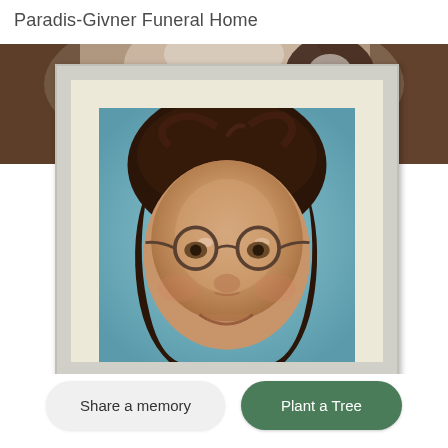Paradis-Givner Funeral Home
[Figure (photo): Portrait photo of a middle-aged woman with short dark brown hair and round glasses, smiling, set in a framed presentation with a cream mat border. Background shows a dog image (appears to be a spaniel) at the top in a brownish banner.]
Share a memory
Plant a Tree